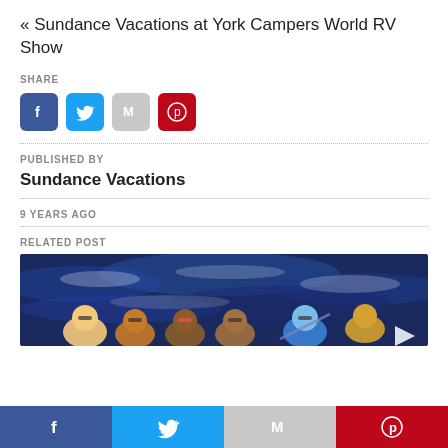« Sundance Vacations at York Campers World RV Show
SHARE
[Figure (infographic): Row of four social share buttons: Facebook (blue), Twitter (light blue), Gmail (gray), Pinterest (red)]
PUBLISHED BY
Sundance Vacations
9 YEARS AGO
RELATED POST
[Figure (photo): Group of people white water rafting, wearing sunglasses and life jackets, with blue churning river water in background. White triangle/play button in bottom right.]
[Figure (infographic): Bottom navigation bar with four social share buttons spanning full width: Facebook (dark blue), Twitter (light blue), Gmail (gray), Pinterest (red)]